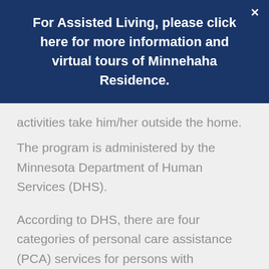For Assisted Living, please click here for more information and virtual tours of Minnehaha Residence.
activities take him/her outside the home.
The program is administered by the Minnesota Department of Human Services (DHS).
According to DHS, there are four categories of personal care assistance (PCA) services for persons with